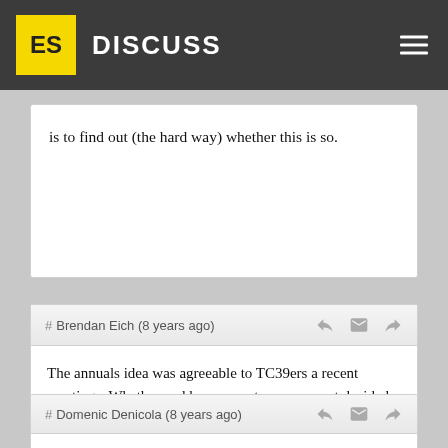ES DISCUSS
is to find out (the hard way) whether this is so.
# Brendan Eich (8 years ago)
The annuals idea was agreeable to TC39ers a recent meetings. Whether and how we cut over was not decided, in my view.

Rushing to the new revolutionary calendar would be a mistake. We (TC39) need to cash checks we've written, and not with our body :-P.
# Domenic Denicola (8 years ago)